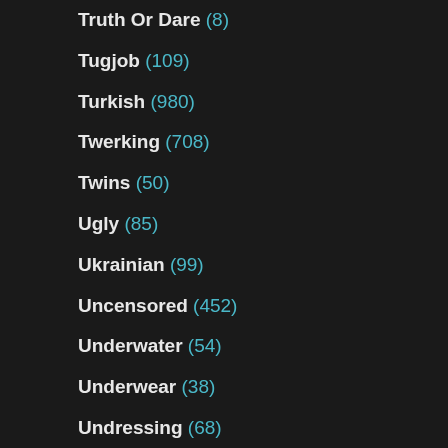Truth Or Dare (8)
Tugjob (109)
Turkish (980)
Twerking (708)
Twins (50)
Ugly (85)
Ukrainian (99)
Uncensored (452)
Underwater (54)
Underwear (38)
Undressing (68)
Uniform (324)
University (18)
Unshaved (40)
Upskirt (1228)
Urethra (23)